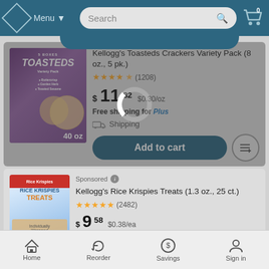Menu | Search | Cart (0)
[Figure (screenshot): Kellogg's Toasteds Crackers Variety Pack product image, 40 oz box]
Kellogg's Toasteds Crackers Variety Pack (8 oz., 5 pk.)
★★★★★ (1208)
$11.82  $0.30/oz
Free shipping for Plus
Shipping
Add to cart
Sponsored
[Figure (screenshot): Kellogg's Rice Krispies Treats product image, 25 ct box]
Kellogg's Rice Krispies Treats (1.3 oz., 25 ct.)
★★★★★ (2482)
$9.58  $0.38/ea
Home | Reorder | Savings | Sign in